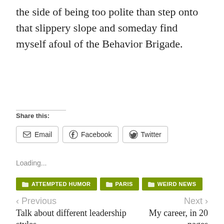the side of being too polite than step onto that slippery slope and someday find myself afoul of the Behavior Brigade.
Share this:
Email   Facebook   Twitter
Loading...
ATTEMPTED HUMOR   PARIS   WEIRD NEWS
< Previous
Talk about different leadership styles
Next >
My career, in 20 pages